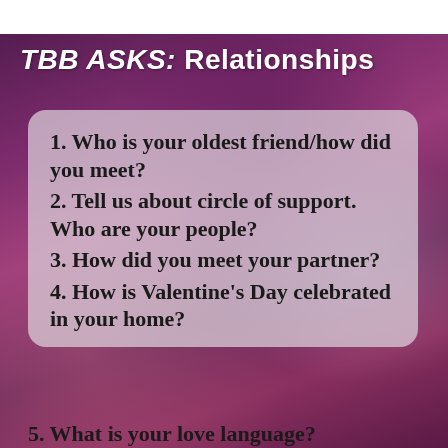TBB ASKS: Relationships
1. Who is your oldest friend/how did you meet?
2. Tell us about circle of support.  Who are your people?
3. How did you meet your partner?
4. How is Valentine's Day celebrated in your home?
5. What is your love language?